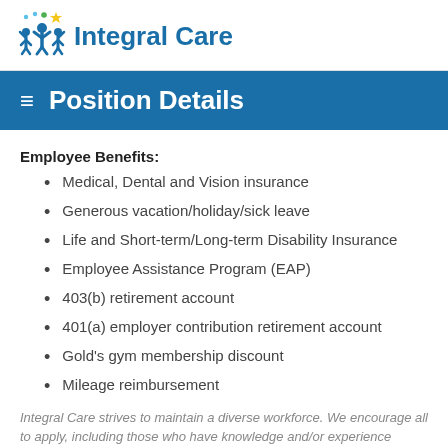[Figure (logo): Integral Care logo with stylized people figures and stars above text]
Position Details
Employee Benefits:
Medical, Dental and Vision insurance
Generous vacation/holiday/sick leave
Life and Short-term/Long-term Disability Insurance
Employee Assistance Program (EAP)
403(b) retirement account
401(a) employer contribution retirement account
Gold's gym membership discount
Mileage reimbursement
Integral Care strives to maintain a diverse workforce. We encourage all to apply, including those who have knowledge and/or experience working with underserved populations, including Asian and Pacific Islander, Black/African American